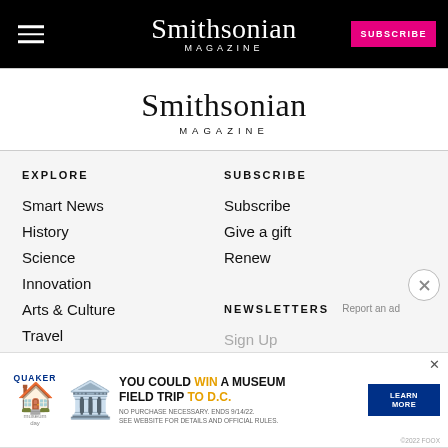Smithsonian Magazine — header navigation bar with hamburger menu and Subscribe button
[Figure (logo): Smithsonian Magazine logo centered on white background]
EXPLORE
Smart News
History
Science
Innovation
Arts & Culture
Travel
At The Smithsonian
Photos
Video
Games
SUBSCRIBE
Subscribe
Give a gift
Renew
NEWSLETTERS
Sign Up
[Figure (infographic): Quaker Museum Day advertisement banner: YOU COULD WIN A MUSEUM FIELD TRIP TO D.C. LEARN MORE. No purchase necessary. Ends 9/14/22. See website for details and official rules.]